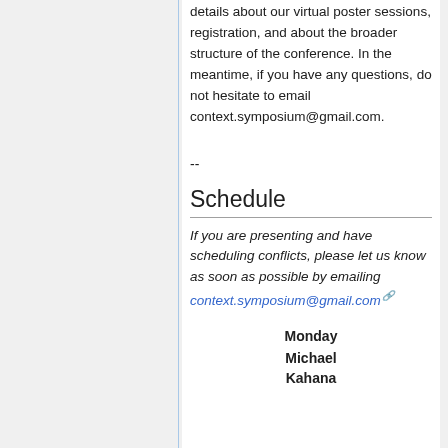details about our virtual poster sessions, registration, and about the broader structure of the conference. In the meantime, if you have any questions, do not hesitate to email context.symposium@gmail.com.
--
Schedule
If you are presenting and have scheduling conflicts, please let us know as soon as possible by emailing context.symposium@gmail.com
Monday
Michael
Kahana